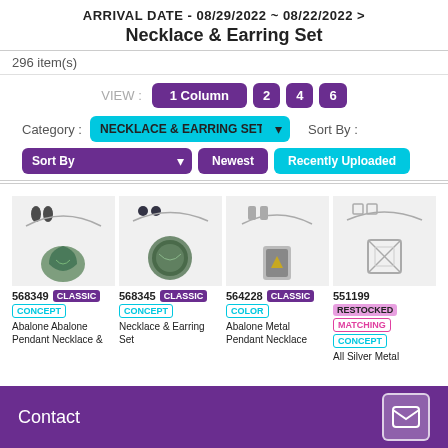ARRIVAL DATE - 08/29/2022 ~ 08/22/2022 > Necklace & Earring Set
296 item(s)
VIEW : 1 Column 2 4 6
Category : NECKLACE & EARRING SET  Sort By :
Sort By  Newest  Recently Uploaded
[Figure (screenshot): Product grid showing 4 necklace and earring set items: 568349 CLASSIC CONCEPT Abalone Abalone Pendant Necklace &; 568345 CLASSIC CONCEPT Necklace & Earring Set; 564228 CLASSIC COLOR Abalone Metal Pendant Necklace; 551199 RESTOCKED MATCHING CONCEPT All Silver Metal]
Contact